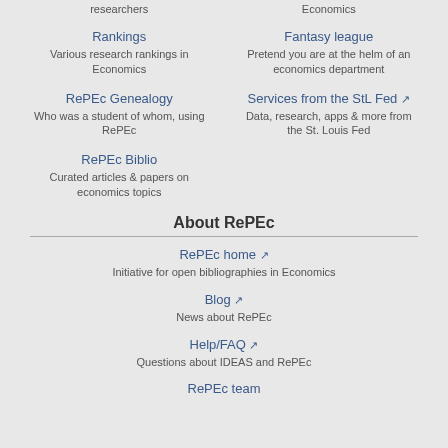researchers | Economics
Rankings
Various research rankings in Economics | Fantasy league
Pretend you are at the helm of an economics department
RePEc Genealogy
Who was a student of whom, using RePEc | Services from the StL Fed
Data, research, apps & more from the St. Louis Fed
RePEc Biblio
Curated articles & papers on economics topics
About RePEc
RePEc home
Initiative for open bibliographies in Economics
Blog
News about RePEc
Help/FAQ
Questions about IDEAS and RePEc
RePEc team